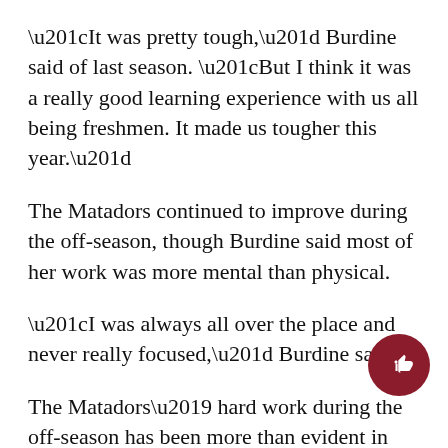“It was pretty tough,” Burdine said of last season. “But I think it was a really good learning experience with us all being freshmen. It made us tougher this year.”
The Matadors continued to improve during the off-season, though Burdine said most of her work was more mental than physical.
“I was always all over the place and never really focused,” Burdine said.
The Matadors’ hard work during the off-season has been more than evident in 2006. CSUN finished 16-12 overall, a much better performance than the previous year.
“During the spring, we worked really hard,” Burdine said. “We were really excited for the season to sta…
Burdine’s kills average has picked up this season, as…